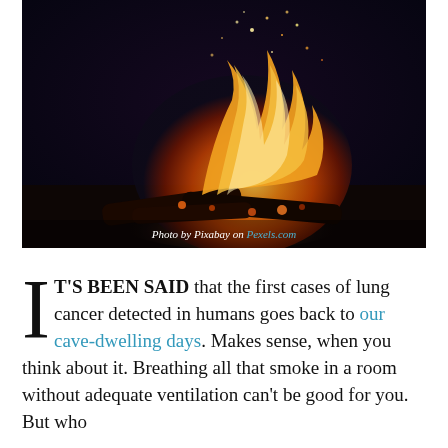[Figure (photo): A large bonfire photographed at night, with bright orange and yellow flames, glowing embers, and dark background. Photo credit: Photo by Pixabay on Pexels.com]
Photo by Pixabay on Pexels.com
IT'S BEEN SAID that the first cases of lung cancer detected in humans goes back to our cave-dwelling days. Makes sense, when you think about it. Breathing all that smoke in a room without adequate ventilation can't be good for you. But who